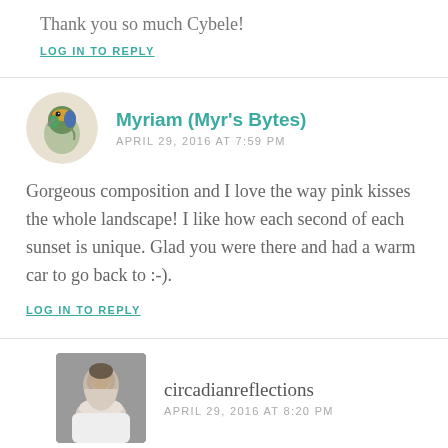Thank you so much Cybele!
LOG IN TO REPLY
Myriam (Myr's Bytes)
APRIL 29, 2016 AT 7:59 PM
Gorgeous composition and I love the way pink kisses the whole landscape! I like how each second of each sunset is unique. Glad you were there and had a warm car to go back to :-).
LOG IN TO REPLY
circadianreflections
APRIL 29, 2016 AT 8:20 PM